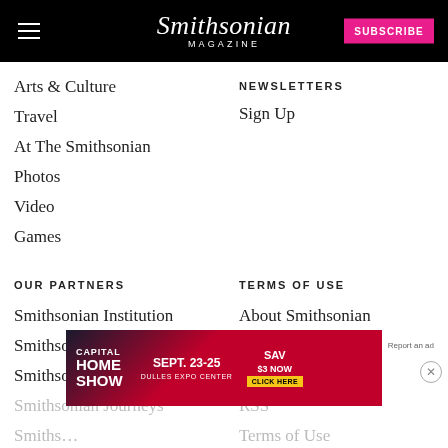Smithsonian Magazine — SUBSCRIBE
Arts & Culture
Travel
At The Smithsonian
Photos
Video
Games
NEWSLETTERS
Sign Up
OUR PARTNERS
Smithsonian Institution
Smithsonian.com
Smithsonian Store
Smithsonian Journeys
Smithsonian
TERMS OF USE
About Smithsonian
Contact Us
Advertising
RSS
Terms of Use
[Figure (screenshot): Advertisement banner for Capital Home Show, Sept. 23-25, Dulles Expo Center, Save $3 Now, Click Here]